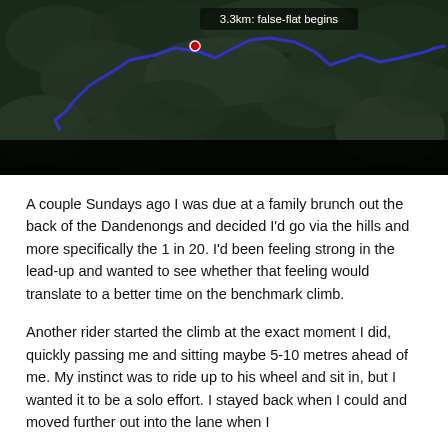[Figure (map): Aerial/satellite map view showing a blue cycling route path winding through dense forested terrain. A red marker with label '3.3km: false-flat begins' is visible near the top center of the map.]
A couple Sundays ago I was due at a family brunch out the back of the Dandenongs and decided I'd go via the hills and more specifically the 1 in 20. I'd been feeling strong in the lead-up and wanted to see whether that feeling would translate to a better time on the benchmark climb.
Another rider started the climb at the exact moment I did, quickly passing me and sitting maybe 5-10 metres ahead of me. My instinct was to ride up to his wheel and sit in, but I wanted it to be a solo effort. I stayed back when I could and moved further out into the lane when I